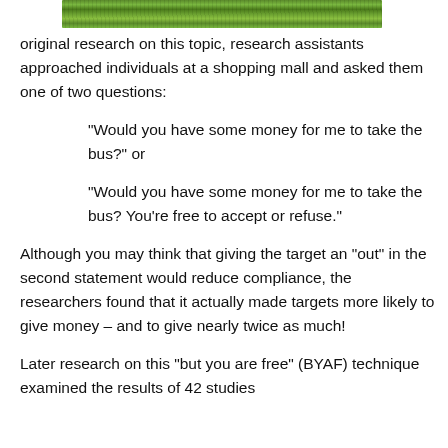[Figure (photo): Partial green grass field photo at top of page]
original research on this topic, research assistants approached individuals at a shopping mall and asked them one of two questions:
“Would you have some money for me to take the bus?” or
“Would you have some money for me to take the bus? You’re free to accept or refuse.”
Although you may think that giving the target an “out” in the second statement would reduce compliance, the researchers found that it actually made targets more likely to give money – and to give nearly twice as much!
Later research on this “but you are free” (BYAF) technique examined the results of 42 studies